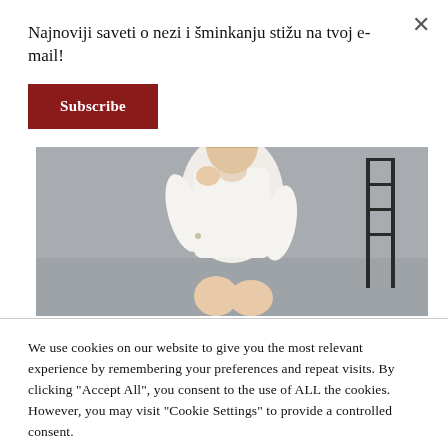Najnoviji saveti o nezi i šminkanju stižu na tvoj e-mail!
Subscribe
[Figure (photo): Woman in white shirt seated, resting chin on hand, with a black wire chair beside her, grey background]
We use cookies on our website to give you the most relevant experience by remembering your preferences and repeat visits. By clicking "Accept All", you consent to the use of ALL the cookies. However, you may visit "Cookie Settings" to provide a controlled consent.
Cookie Settings
Accept All